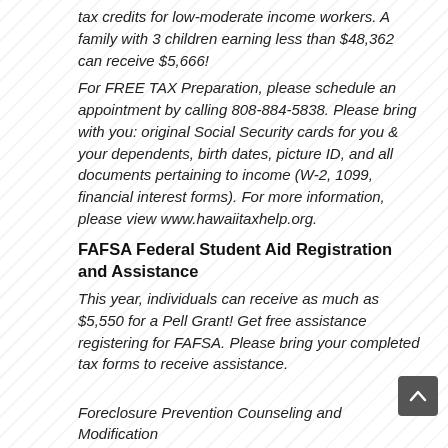tax credits for low-moderate income workers. A family with 3 children earning less than $48,362 can receive $5,666!
For FREE TAX Preparation, please schedule an appointment by calling 808-884-5838. Please bring with you: original Social Security cards for you & your dependents, birth dates, picture ID, and all documents pertaining to income (W-2, 1099, financial interest forms). For more information, please view www.hawaiitaxhelp.org.
FAFSA Federal Student Aid Registration and Assistance
This year, individuals can receive as much as $5,550 for a Pell Grant! Get free assistance registering for FAFSA. Please bring your completed tax forms to receive assistance.
Foreclosure Prevention Counseling and Modification